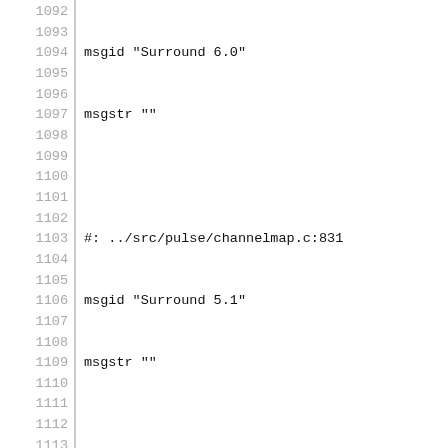1092 msgid "Surround 6.0"
1093 msgstr ""
1094
1095 #: ../src/pulse/channelmap.c:831
1096 msgid "Surround 5.1"
1097 msgstr ""
1098
1099 #: ../src/pulse/channelmap.c:838
1100 msgid "Surround 7.1"
1101 msgstr ""
1102
1103 #: ../src/pulse/error.c:43
1104 msgid "OK"
1105 msgstr "D'acord"
1106
1107 #: ../src/pulse/error.c:44
1108 msgid "Access denied"
1109 msgstr "S'ha denegat l'accès"
1110
1111 #: ../src/pulse/error.c:45
1112 msgid "Unknown command"
1113 msgstr "Ordre desconeguda"
1114
1115 #: ../src/pulse/error.c:46
1116 msgid "Invalid argument"
1117 msgstr "Argument incorrecte"
1118
1119 #: ../src/pulse/error.c:47
1120 msgid "Entity exists"
1121 msgstr "L'entitat existeix"
1122